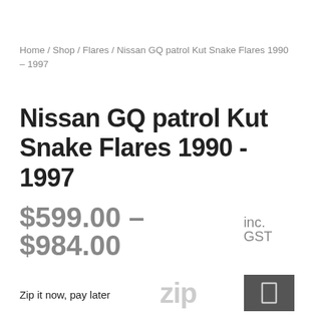Home / Shop / Flares / Nissan GQ patrol Kut Snake Flares 1990 – 1997
Nissan GQ patrol Kut Snake Flares 1990 - 1997
$599.00 – $984.00 inc. GST
Zip it now, pay later